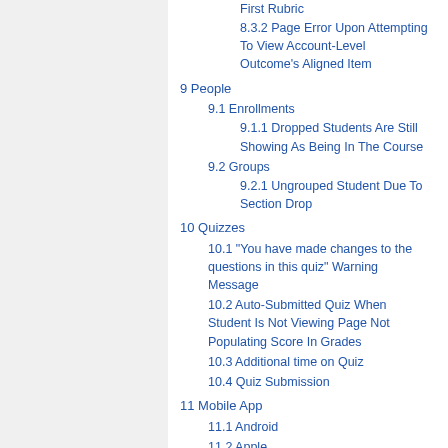8.3.2 Page Error Upon Attempting To View Account-Level Outcome's Aligned Item
9 People
9.1 Enrollments
9.1.1 Dropped Students Are Still Showing As Being In The Course
9.2 Groups
9.2.1 Ungrouped Student Due To Section Drop
10 Quizzes
10.1 "You have made changes to the questions in this quiz" Warning Message
10.2 Auto-Submitted Quiz When Student Is Not Viewing Page Not Populating Score In Grades
10.3 Additional time on Quiz
10.4 Quiz Submission
11 Mobile App
11.1 Android
11.2 Apple
11.2.1 Canvas iPhone App: Create an Announcement